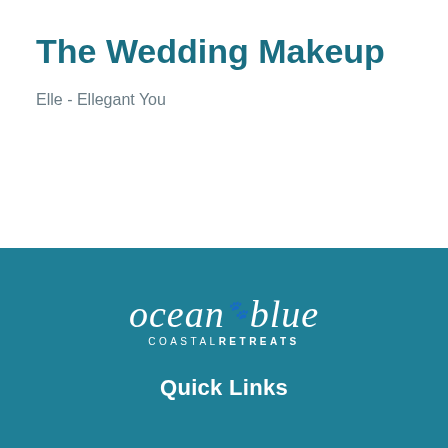The Wedding Makeup
Elle - Ellegant You
[Figure (logo): oceanblue COASTAL RETREATS logo in white on teal background with a paw print icon]
Quick Links